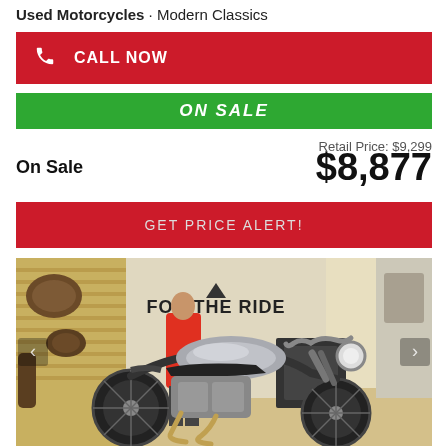Used Motorcycles · Modern Classics
CALL NOW
ON SALE
Retail Price: $9,299
On Sale
$8,877
GET PRICE ALERT!
[Figure (photo): A classic-style motorcycle (Triumph) displayed inside a dealership showroom. Background shows merchandise hanging on slat walls including seats/backrests, and a mannequin wearing a red Triumph shirt. Text on the wall reads 'FOR THE RIDE'. The motorcycle is silver and black, a modern classic style.]